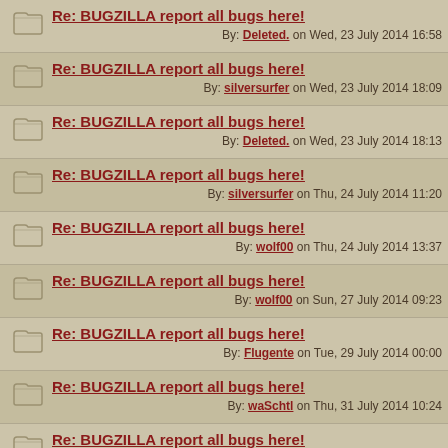Re: BUGZILLA report all bugs here! By: Deleted. on Wed, 23 July 2014 16:58
Re: BUGZILLA report all bugs here! By: silversurfer on Wed, 23 July 2014 18:09
Re: BUGZILLA report all bugs here! By: Deleted. on Wed, 23 July 2014 18:13
Re: BUGZILLA report all bugs here! By: silversurfer on Thu, 24 July 2014 11:20
Re: BUGZILLA report all bugs here! By: wolf00 on Thu, 24 July 2014 13:37
Re: BUGZILLA report all bugs here! By: wolf00 on Sun, 27 July 2014 09:23
Re: BUGZILLA report all bugs here! By: Flugente on Tue, 29 July 2014 00:00
Re: BUGZILLA report all bugs here! By: waSchtl on Thu, 31 July 2014 10:24
Re: BUGZILLA report all bugs here! By: Gorro der Grüne on Thu, 31 July 2014 14:45